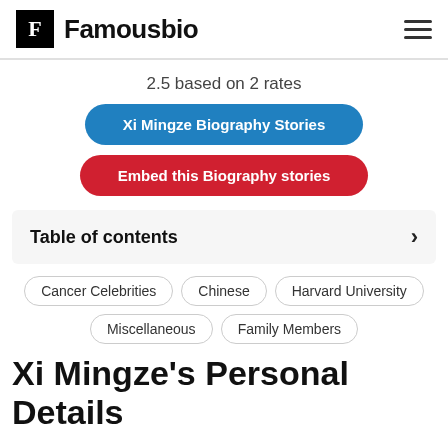Famousbio
2.5 based on 2 rates
Xi Mingze Biography Stories
Embed this Biography stories
Table of contents
Cancer Celebrities
Chinese
Harvard University
Miscellaneous
Family Members
Xi Mingze's Personal Details